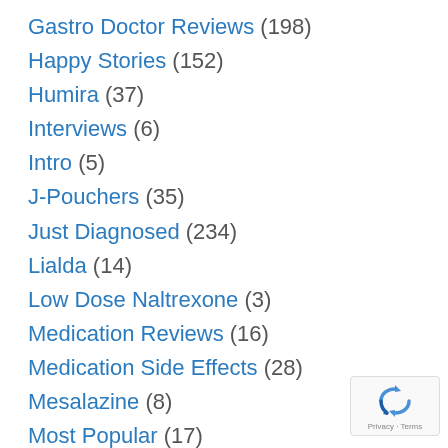Gastro Doctor Reviews (198)
Happy Stories (152)
Humira (37)
Interviews (6)
Intro (5)
J-Pouchers (35)
Just Diagnosed (234)
Lialda (14)
Low Dose Naltrexone (3)
Medication Reviews (16)
Medication Side Effects (28)
Mesalazine (8)
Most Popular (17)
[Figure (logo): Google reCAPTCHA badge with recycling-arrow icon and Privacy - Terms text]